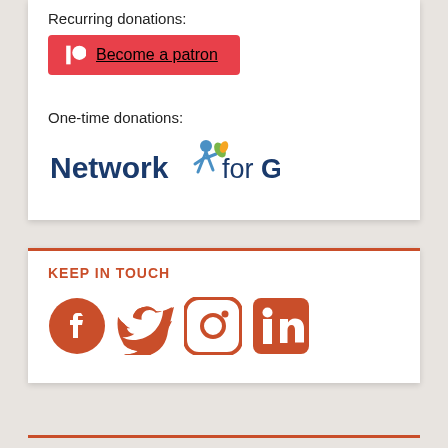Recurring donations:
[Figure (logo): Patreon button - red background with Patreon circle icon and 'Become a patron' text underlined]
One-time donations:
[Figure (logo): Network for Good logo - blue bold text with running person figure icon]
KEEP IN TOUCH
[Figure (infographic): Social media icons: Facebook, Twitter, Instagram, LinkedIn - all in burnt orange/red color]